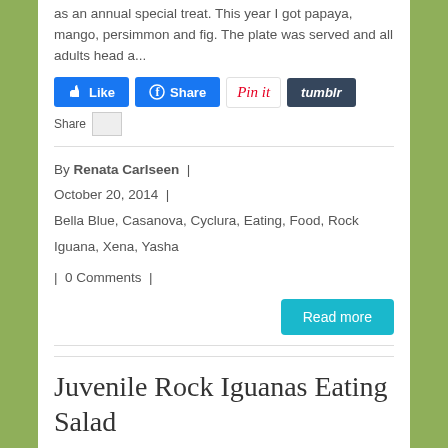as an annual special treat. This year I got papaya, mango, persimmon and fig. The plate was served and all adults head a...
[Figure (other): Social sharing buttons: Like (Facebook), Share (Facebook), Pin it (Pinterest), tumblr, Share link with image placeholder]
By Renata Carlseen  |  October 20, 2014  |  Bella Blue, Casanova, Cyclura, Eating, Food, Rock Iguana, Xena, Yasha  |  0 Comments  |
[Figure (other): Read more button (teal/cyan)]
Juvenile Rock Iguanas Eating Salad
Only 3 weeks old, but already learned feeding routine! Our 2014 rock iguana babies emerge from the hide to go eat breakfast salad one at a time. They are adorable and cute. Just watch the video